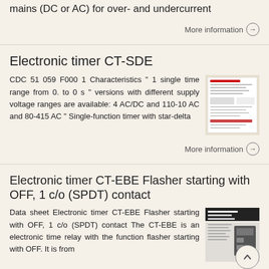mains (DC or AC) for over- and undercurrent
More information →
Electronic timer CT-SDE
CDC 51 059 F000 1 Characteristics " 1 single time range from 0. to 0 s " versions with different supply voltage ranges are available: 4 AC/DC and 110-10 AC and 80-415 AC " Single-function timer with star-delta
[Figure (photo): Thumbnail image of CT-SDE datasheet document]
More information →
Electronic timer CT-EBE Flasher starting with OFF, 1 c/o (SPDT) contact
Data sheet Electronic timer CT-EBE Flasher starting with OFF, 1 c/o (SPDT) contact The CT-EBE is an electronic time relay with the function flasher starting with OFF. It is from
[Figure (photo): Thumbnail image of CT-EBE product and datasheet]